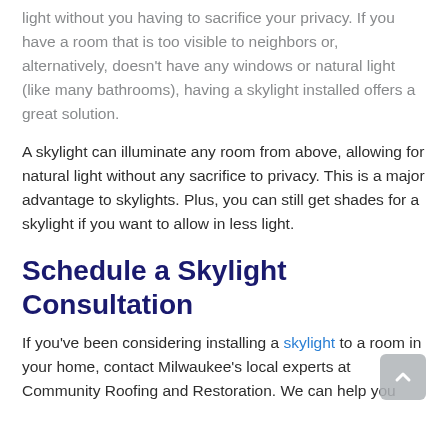light without you having to sacrifice your privacy. If you have a room that is too visible to neighbors or, alternatively, doesn't have any windows or natural light (like many bathrooms), having a skylight installed offers a great solution.
A skylight can illuminate any room from above, allowing for natural light without any sacrifice to privacy. This is a major advantage to skylights. Plus, you can still get shades for a skylight if you want to allow in less light.
Schedule a Skylight Consultation
If you've been considering installing a skylight to a room in your home, contact Milwaukee's local experts at Community Roofing and Restoration. We can help you